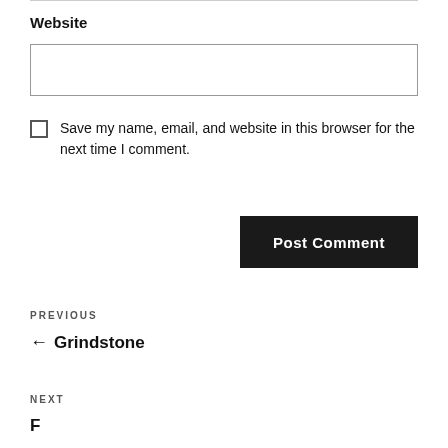Website
Save my name, email, and website in this browser for the next time I comment.
Post Comment
PREVIOUS
← Grindstone
NEXT